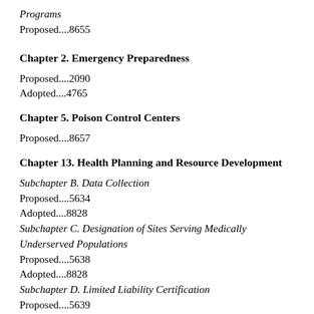Programs
Proposed....8655
Chapter 2. Emergency Preparedness
Proposed....2090
Adopted....4765
Chapter 5. Poison Control Centers
Proposed....8657
Chapter 13. Health Planning and Resource Development
Subchapter B. Data Collection
Proposed....5634
Adopted....8828
Subchapter C. Designation of Sites Serving Medically Underserved Populations
Proposed....5638
Adopted....8828
Subchapter D. Limited Liability Certification
Proposed....5639
Adopted....8829
Subchapter F. Medically Underserved Areas and Resident Pharmacists